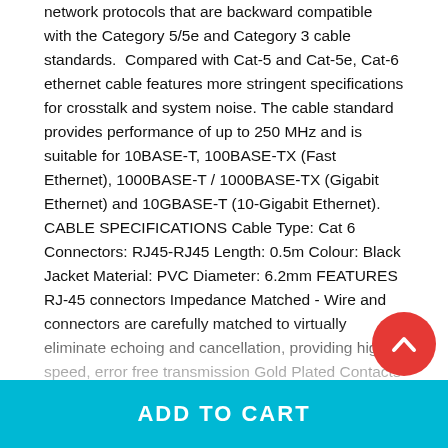network protocols that are backward compatible with the Category 5/5e and Category 3 cable standards.  Compared with Cat-5 and Cat-5e, Cat-6 ethernet cable features more stringent specifications for crosstalk and system noise. The cable standard provides performance of up to 250 MHz and is suitable for 10BASE-T, 100BASE-TX (Fast Ethernet), 1000BASE-T / 1000BASE-TX (Gigabit Ethernet) and 10GBASE-T (10-Gigabit Ethernet). CABLE SPECIFICATIONS Cable Type: Cat 6 Connectors: RJ45-RJ45 Length: 0.5m Colour: Black Jacket Material: PVC Diameter: 6.2mm FEATURES RJ-45 connectors Impedance Matched - Wire and connectors are carefully matched to virtually eliminate echoing and cancellation, providing high speed, error free transmission Gold Plated Contacts - Gold plating eliminates corrosion and provides maximum conductivity to ensure data integrity Unique PVC Jacket - Exclusive poly technology provides unsurpassed durability and flexibility pins when removing them from patch panels Strain Relief - Increases
[Figure (other): Red circular scroll-up button with a caret/chevron arrow pointing upward, positioned at bottom-right of the page over the text content]
ADD TO CART